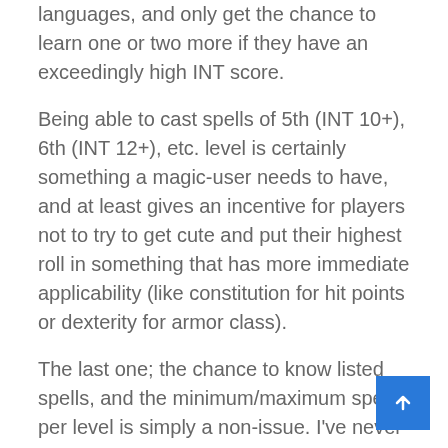languages, and only get the chance to learn one or two more if they have an exceedingly high INT score.
Being able to cast spells of 5th (INT 10+), 6th (INT 12+), etc. level is certainly something a magic-user needs to have, and at least gives an incentive for players not to try to get cute and put their highest roll in something that has more immediate applicability (like constitution for hit points or dexterity for armor class).
The last one; the chance to know listed spells, and the minimum/maximum spells per level is simply a non-issue. I've never heard of anyone actually using those cockamamie rules. (Basically, each M-U character is expected to roll for each spell listed in the Players Handbook; if they blow their roll, they can't ever learn that spell in question. Ever. And someone with, say, a 15 INT would only be able to ever learn 11 spells listed in the